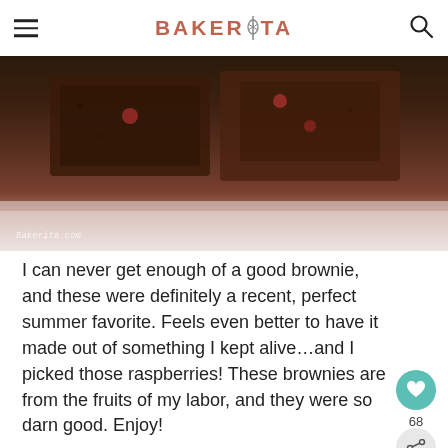BAKERITA
[Figure (photo): Close-up photo of chocolate raspberry brownies with powdered sugar, watermark 'Bakerita.com' in bottom left]
I can never get enough of a good brownie, and these were definitely a recent, perfect summer favorite. Feels even better to have it made out of something I kept alive…and I picked those raspberries! These brownies are from the fruits of my labor, and they were so darn good. Enjoy!